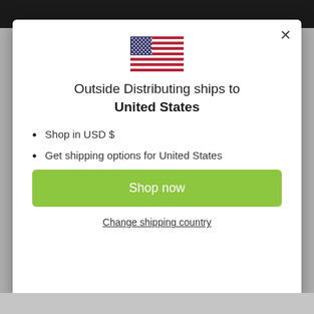[Figure (screenshot): Modal dialog showing shipping destination for Outside Distributing to United States, with US flag, bullet points, Shop now button, and Change shipping country link]
Outside Distributing ships to United States
Shop in USD $
Get shipping options for United States
Shop now
Change shipping country